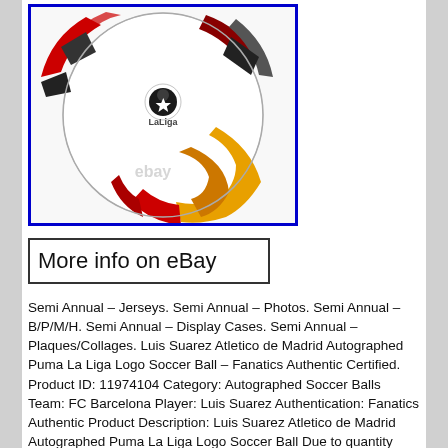[Figure (photo): A white soccer ball with LaLiga branding, featuring red, yellow, and black graphic patterns. The ball shows the LaLiga logo and text. There is a watermark reading 'ebay' on the image.]
More info on eBay
Semi Annual – Jerseys. Semi Annual – Photos. Semi Annual – B/P/M/H. Semi Annual – Display Cases. Semi Annual – Plaques/Collages. Luis Suarez Atletico de Madrid Autographed Puma La Liga Logo Soccer Ball – Fanatics Authentic Certified. Product ID: 11974104 Category: Autographed Soccer Balls Team: FC Barcelona Player: Luis Suarez Authentication: Fanatics Authentic Product Description: Luis Suarez Atletico de Madrid Autographed Puma La Liga Logo Soccer Ball Due to quantity levels, we do at times list a stock image of the product. This is done to standardize and expedite the listing process and only applies for merchandise that is comparably identical. Our Guarantee is simple: The excellent reputation of each supplier we do